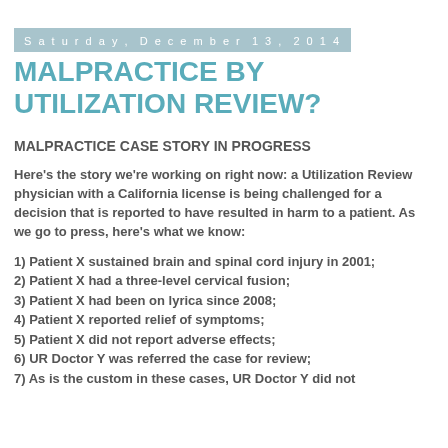Saturday, December 13, 2014
MALPRACTICE BY UTILIZATION REVIEW?
MALPRACTICE CASE STORY IN PROGRESS
Here's the story we're working on right now: a Utilization Review physician with a California license is being challenged for a decision that is reported to have resulted in harm to a patient. As we go to press, here's what we know:
1) Patient X sustained brain and spinal cord injury in 2001;
2) Patient X had a three-level cervical fusion;
3) Patient X had been on lyrica since 2008;
4) Patient X reported relief of symptoms;
5) Patient X did not report adverse effects;
6) UR Doctor Y was referred the case for review;
7) As is the custom in these cases, UR Doctor Y did not